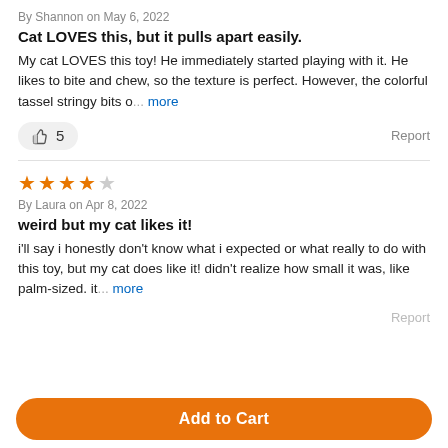By Shannon on May 6, 2022
Cat LOVES this, but it pulls apart easily.
My cat LOVES this toy! He immediately started playing with it. He likes to bite and chew, so the texture is perfect. However, the colorful tassel stringy bits o... more
👍 5    Report
⭐⭐⭐⭐☆ By Laura on Apr 8, 2022
weird but my cat likes it!
i'll say i honestly don't know what i expected or what really to do with this toy, but my cat does like it! didn't realize how small it was, like palm-sized. it... more
Add to Cart